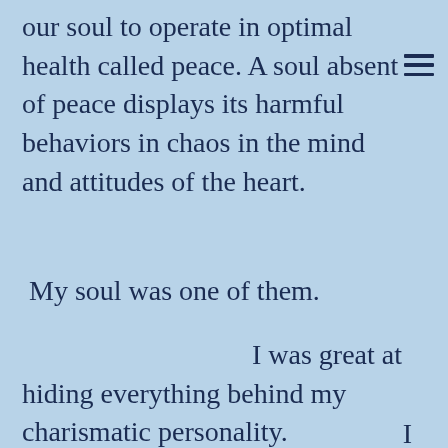our soul to operate in optimal health called peace. A soul absent of peace displays its harmful behaviors in chaos in the mind and attitudes of the heart.
My soul was one of them.
I was great at hiding everything behind my charismatic personality. I had great passion, but zero peace.